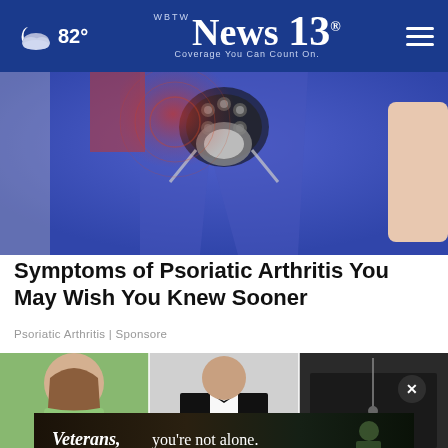82° | WBTW News 13 | Coverage You Can Count On.
[Figure (photo): Medical illustration showing hip joint with psoriatic arthritis overlay on person wearing blue leggings]
Symptoms of Psoriatic Arthritis You May Wish You Knew Sooner
Psoriatic Arthritis | Sponsore
[Figure (photo): Three-panel image grid: woman in green sweater, man in tuxedo with bow tie, dark jacket with pendant]
[Figure (photo): Advertisement banner: Veterans, you're not alone. with person sitting in dim environment]